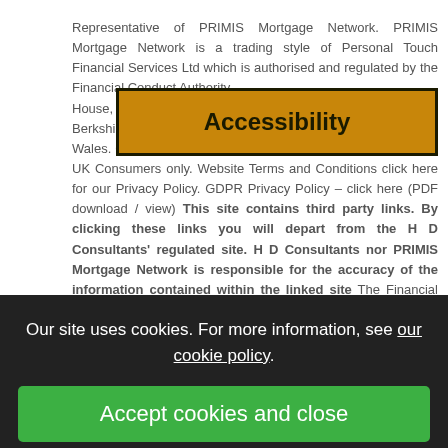Representative of PRIMIS Mortgage Network. PRIMIS Mortgage Network is a trading style of Personal Touch Financial Services Ltd which is authorised and regulated by the Financial Conduct Authority. House, 163 High Street, Crowthorne, Berkshire, England & Wales. Company Registration Number 4952586. This site is for UK Consumers only. Website Terms and Conditions click here for our Privacy Policy. GDPR Privacy Policy - click here (PDF download / view) This site contains third party links. By clicking these links you will depart from the H D Consultants' regulated site. H D Consultants nor PRIMIS Mortgage Network is responsible for the accuracy of the information contained within the linked site The Financial Conduct Authority does not regulate some of the services listed. H D Consultants, mortgage and life insurance advisers, is authorised by the FCA no 403701. Our in house Wills and Trusts Practice is a
[Figure (screenshot): Orange Accessibility button with dark border]
Our site uses cookies. For more information, see our cookie policy.
Accept cookies and close
Reject cookies
Manage settings